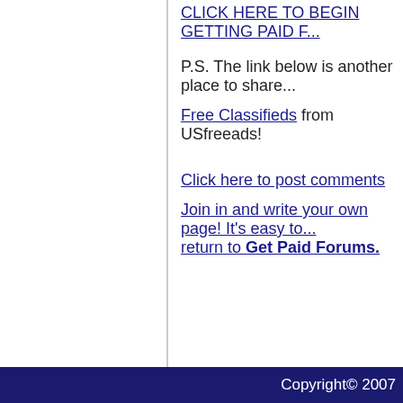CLICK HERE TO BEGIN GETTING PAID F...
P.S. The link below is another place to share...
Free Classifieds from USfreeads!
Click here to post comments
Join in and write your own page! It's easy to... return to Get Paid Forums.
| Homepage | Free Ads | Web Hos...
internet-work-marke... A division of Hawkins N... All rights reser... Return to top
Copyright© 2007